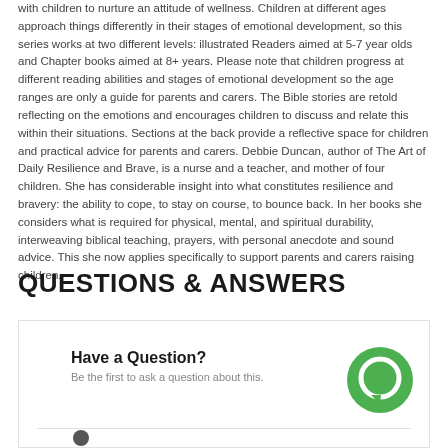with children to nurture an attitude of wellness. Children at different ages approach things differently in their stages of emotional development, so this series works at two different levels: illustrated Readers aimed at 5-7 year olds and Chapter books aimed at 8+ years. Please note that children progress at different reading abilities and stages of emotional development so the age ranges are only a guide for parents and carers. The Bible stories are retold reflecting on the emotions and encourages children to discuss and relate this within their situations. Sections at the back provide a reflective space for children and practical advice for parents and carers. Debbie Duncan, author of The Art of Daily Resilience and Brave, is a nurse and a teacher, and mother of four children. She has considerable insight into what constitutes resilience and bravery: the ability to cope, to stay on course, to bounce back. In her books she considers what is required for physical, mental, and spiritual durability, interweaving biblical teaching, prayers, with personal anecdote and sound advice. This she now applies specifically to support parents and carers raising children.
QUESTIONS & ANSWERS
[Figure (illustration): Green circle with white circular outline inside, resembling a chat/message bubble icon]
Have a Question?
Be the first to ask a question about this.